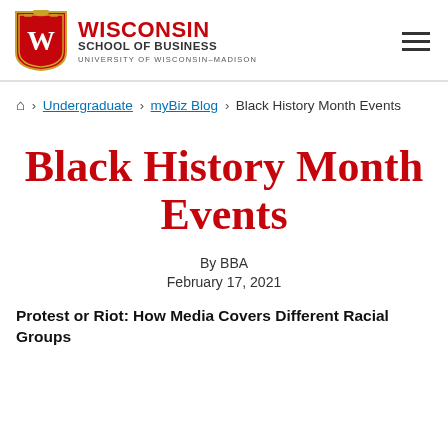[Figure (logo): Wisconsin School of Business, University of Wisconsin-Madison logo with shield and text]
🏠 > Undergraduate > myBiz Blog > Black History Month Events
Black History Month Events
By BBA
February 17, 2021
Protest or Riot: How Media Covers Different Racial Groups